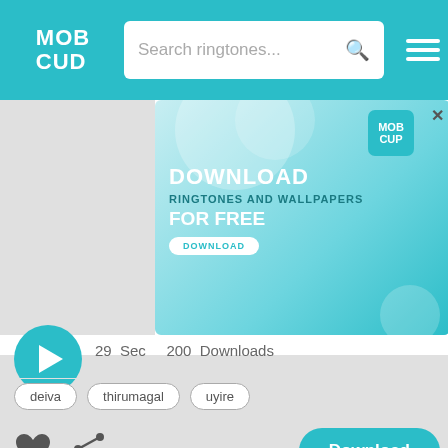MobCup - Search ringtones...
[Figure (screenshot): MobCup advertisement banner: DOWNLOAD RINGTONES AND WALLPAPERS FOR FREE with a DOWNLOAD button]
29 Sec   200 Downloads
deiva
thirumagal
uyire
[Figure (illustration): Heart (favorite) icon and share icon]
Download
Deiva Thirumagal Bgm
Wallpaper  Ringtone  Favorite  Profile
[Figure (screenshot): MobCup advertisement banner bottom: DOWNLOAD RINGTONES AND WALLPAPERS FOR FREE with a DOWNLOAD button]